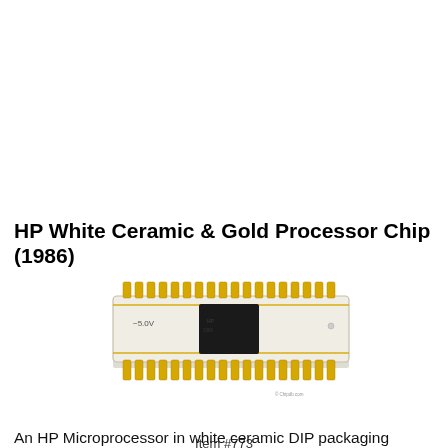HP White Ceramic & Gold Processor Chip (1986)
[Figure (photo): HP white ceramic DIP (Dual Inline Package) processor chip from 1986 with gold pins along both sides. The chip has a white/cream ceramic body with a black square die in the center. A label on the chip reads '-5.0V'. Copyright watermark reads '© Chipdb.com'.]
Item #773
An HP Microprocessor in white ceramic DIP packaging